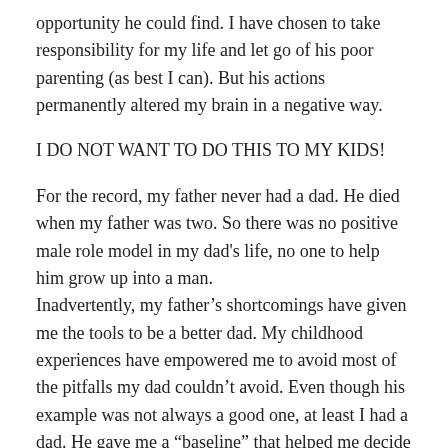opportunity he could find. I have chosen to take responsibility for my life and let go of his poor parenting (as best I can). But his actions permanently altered my brain in a negative way.
I DO NOT WANT TO DO THIS TO MY KIDS!
For the record, my father never had a dad. He died when my father was two. So there was no positive male role model in my dad's life, no one to help him grow up into a man.
Inadvertently, my father's shortcomings have given me the tools to be a better dad. My childhood experiences have empowered me to avoid most of the pitfalls my dad couldn't avoid. Even though his example was not always a good one, at least I had a dad. He gave me a “baseline” that helped me decide what kind of man and dad I wanted to be.